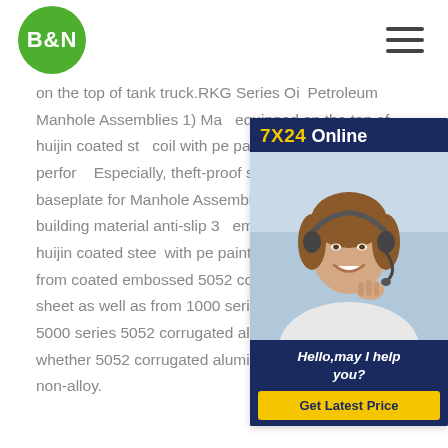B&N — navigation logo and hamburger menu
on the top of tank truck.RKG Series Oil Petroleum Manhole Assemblies 1) Manhole equipped on the top of huijin coated steel coil with pe paint durability and performance. Especially, theft-proof sensor of Aluminum baseplate for Manhole Assemblies is a Technique building material anti-slip 3D embossed aluminum huijin coated steel coil with pe paintYou can also choose from coated embossed 5052 corrugated aluminum sheet as well as from 1000 series 6000 series and 5000 series 5052 corrugated aluminum sheet and whether 5052 corrugated aluminum sheet is is alloy or non-alloy.
[Figure (photo): Customer support chat widget with a woman wearing a headset. Contains '7X24 Online' header in dark blue bar, photo of smiling woman with headset, 'Hello,may I help you?' text, and a yellow 'Get Latest Price' button.]